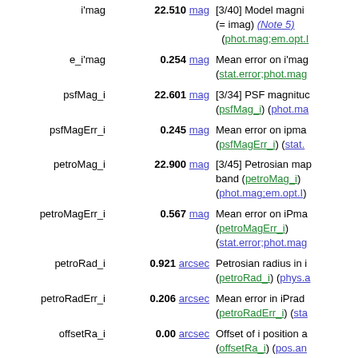| Name | Value | Description |
| --- | --- | --- |
| i'mag | 22.510 mag | [3/40] Model magni (= imag) (Note 5) (phot.mag;em.opt.I) |
| e_i'mag | 0.254 mag | Mean error on i'mag (stat.error;phot.mag) |
| psfMag_i | 22.601 mag | [3/34] PSF magnitude (psfMag_i) (phot.ma |
| psfMagErr_i | 0.245 mag | Mean error on ipma (psfMagErr_i) (stat. |
| petroMag_i | 22.900 mag | [3/45] Petrosian map band (petroMag_i) (phot.mag;em.opt.I) |
| petroMagErr_i | 0.567 mag | Mean error on iPma (petroMagErr_i) (stat.error;phot.mag) |
| petroRad_i | 0.921 arcsec | Petrosian radius in i (petroRad_i) (phys.a |
| petroRadErr_i | 0.206 arcsec | Mean error in iPrad (petroRadErr_i) (sta |
| offsetRa_i | 0.00 arcsec | Offset of i position a (offsetRa_i) (pos.an |
| offsetDec_i | 0.00 arcsec | Offset of i position a (offsetDec_i) (pos.a |